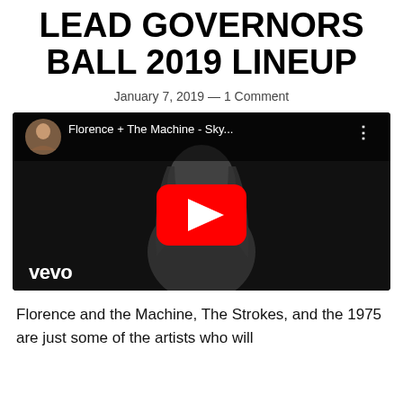STROKES, THE 1975 LEAD GOVERNORS BALL 2019 LINEUP
January 7, 2019 — 1 Comment
[Figure (screenshot): Embedded YouTube video player showing Florence + The Machine - Sky... with vevo branding. Black and white thumbnail of a woman with long hair. Red YouTube play button in center.]
Florence and the Machine, The Strokes, and the 1975 are just some of the artists who will